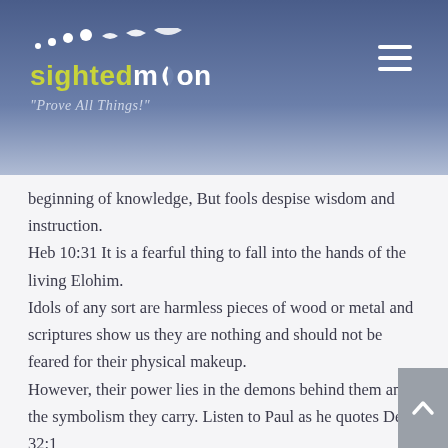[Figure (logo): Sighted Moon website logo with moon phase icons and tagline 'Prove All Things!']
beginning of knowledge, But fools despise wisdom and instruction. Heb 10:31 It is a fearful thing to fall into the hands of the living Elohim. Idols of any sort are harmless pieces of wood or metal and scriptures show us they are nothing and should not be feared for their physical makeup. However, their power lies in the demons behind them and the symbolism they carry. Listen to Paul as he quotes Deut 32:1 1Co 10:19 What am I saying then? That an idol is anything, or what is offered to